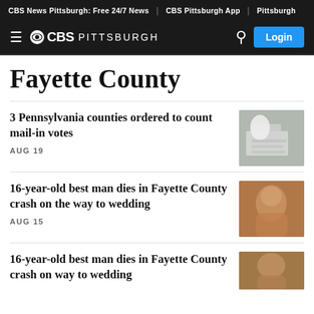CBS News Pittsburgh: Free 24/7 News | CBS Pittsburgh App | Pittsburgh
≡ @CBS PITTSBURGH  🔍  Login
Fayette County
3 Pennsylvania counties ordered to count mail-in votes
AUG 19
[Figure (photo): Gloved hand handling mail-in ballots on a table]
16-year-old best man dies in Fayette County crash on the way to wedding
AUG 15
[Figure (photo): Close-up portrait photo of a young man]
16-year-old best man dies in Fayette County crash on way to wedding
[Figure (photo): Another photo related to the Fayette County crash story]